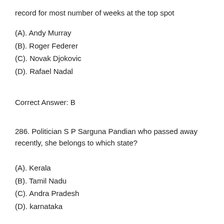record for most number of weeks at the top spot
(A). Andy Murray
(B). Roger Federer
(C). Novak Djokovic
(D). Rafael Nadal
Correct Answer: B
286. Politician S P Sarguna Pandian who passed away recently, she belongs to which state?
(A). Kerala
(B). Tamil Nadu
(C). Andra Pradesh
(D). karnataka
Correct Answer: B